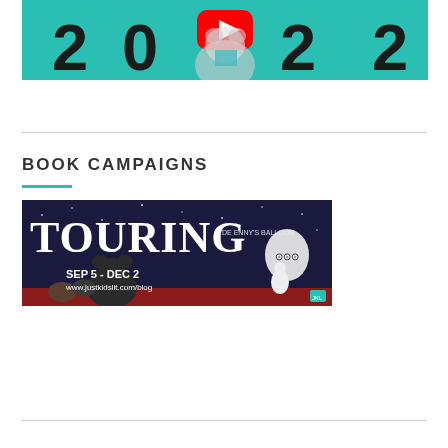[Figure (screenshot): Video player screenshot showing '2022' text with a bear character on teal background, YouTube logo visible, with video playback controls showing 00:30 timestamp]
BOOK CAMPAIGNS
[Figure (illustration): Book campaign banner reading 'TOURING' with animal characters on dark blue/purple background, dates SEP 5 - DEC 2, website www.justkidslit.com/blog]